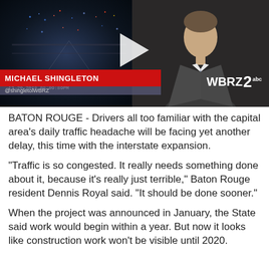[Figure (screenshot): Video thumbnail from WBRZ 2 news broadcast showing a split screen: left side is a dark traffic camera view of an interstate at night labeled 'I-10 @ NICHOLSON 12-20-2018 08:09:89PM' with a play button overlay; right side shows a news anchor in a suit. Lower third bar reads 'MICHAEL SHINGLETON' in red with WBRZ 2 logo on the right.]
BATON ROUGE - Drivers all too familiar with the capital area's daily traffic headache will be facing yet another delay, this time with the interstate expansion.
"Traffic is so congested. It really needs something done about it, because it's really just terrible," Baton Rouge resident Dennis Royal said. "It should be done sooner."
When the project was announced in January, the State said work would begin within a year. But now it looks like construction work won't be visible until 2020.